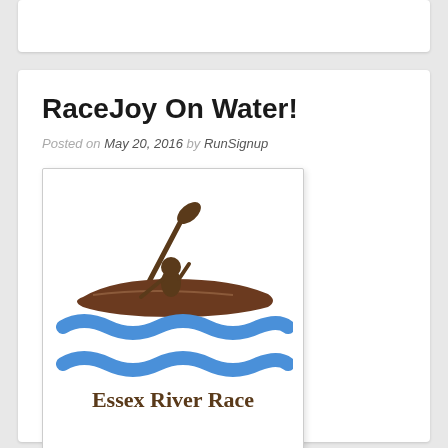RaceJoy On Water!
Posted on May 20, 2016 by RunSignup
[Figure (logo): Essex River Race logo featuring a kayaker in a brown canoe paddling over blue wavy water lines, with text 'Essex River Race' below in brown serif font]